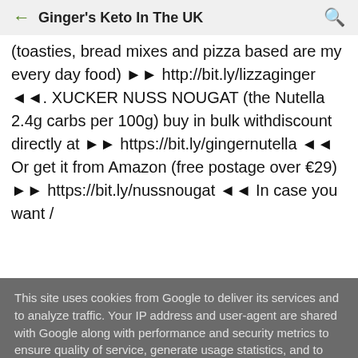Ginger's Keto In The UK
(toasties, bread mixes and pizza based are my every day food) ►► http://bit.ly/lizzaginger ◄◄. XUCKER NUSS NOUGAT (the Nutella 2.4g carbs per 100g) buy in bulk withdiscount directly at ►► https://bit.ly/gingernutella ◄◄ Or get it from Amazon (free postage over €29) ►► https://bit.ly/nussnougat ◄◄ In case you want /
This site uses cookies from Google to deliver its services and to analyze traffic. Your IP address and user-agent are shared with Google along with performance and security metrics to ensure quality of service, generate usage statistics, and to detect and address abuse.
LEARN MORE    OK